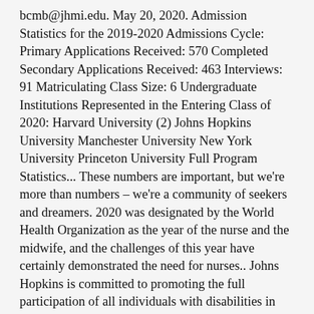bcmb@jhmi.edu. May 20, 2020. Admission Statistics for the 2019-2020 Admissions Cycle: Primary Applications Received: 570 Completed Secondary Applications Received: 463 Interviews: 91 Matriculating Class Size: 6 Undergraduate Institutions Represented in the Entering Class of 2020: Harvard University (2) Johns Hopkins University Manchester University New York University Princeton University Full Program Statistics... These numbers are important, but we're more than numbers – we're a community of seekers and dreamers. 2020 was designated by the World Health Organization as the year of the nurse and the midwife, and the challenges of this year have certainly demonstrated the need for nurses.. Johns Hopkins is committed to promoting the full participation of all individuals with disabilities in the Commencement Exercises. School of Medicine Class of 2021 Convocation Ceremony Wednesday, May 26, 2021 Our 2021 Convocation Ceremony will be held on Wednesday, May 26, 2021 at 2:30 p.m. The Johns Hopkins University School of Medicine consistently ranks among the nation's very best in